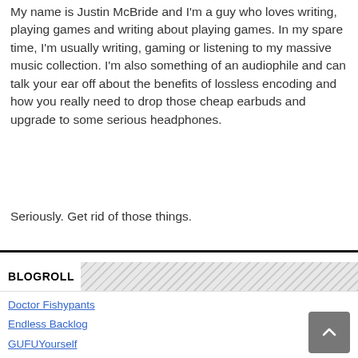My name is Justin McBride and I'm a guy who loves writing, playing games and writing about playing games. In my spare time, I'm usually writing, gaming or listening to my massive music collection. I'm also something of an audiophile and can talk your ear off about the benefits of lossless encoding and how you really need to drop those cheap earbuds and upgrade to some serious headphones.
Seriously. Get rid of those things.
BLOGROLL
Doctor Fishypants
Endless Backlog
GUFUYourself